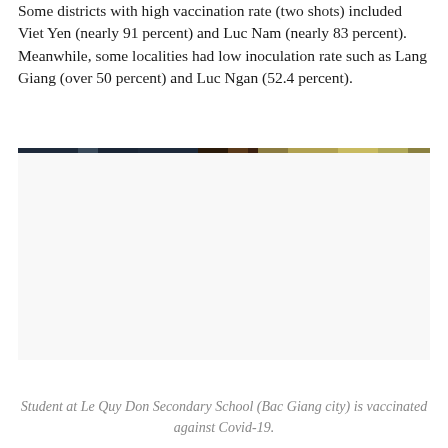Some districts with high vaccination rate (two shots) included Viet Yen (nearly 91 percent) and Luc Nam (nearly 83 percent). Meanwhile, some localities had low inoculation rate such as Lang Giang (over 50 percent) and Luc Ngan (52.4 percent).
[Figure (photo): Photograph of a student at Le Quy Don Secondary School in Bac Giang city being vaccinated against Covid-19. A thin horizontal color bar (decorative divider) separates the text from the photo area.]
Student at Le Quy Don Secondary School (Bac Giang city) is vaccinated against Covid-19.